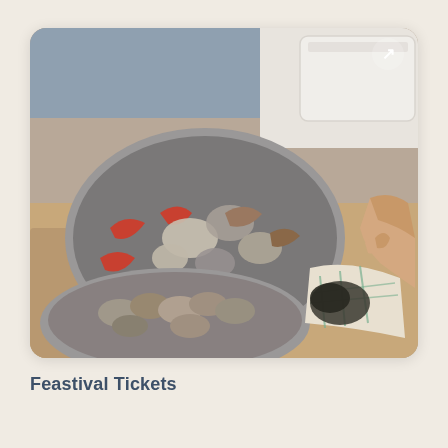[Figure (photo): A seafood preparation scene showing large metal bowls/trays filled with crabs, oysters, and shellfish. A person's hand is shucking or handling an oyster with a cloth/glove on a wooden surface. A white container is visible in the background.]
Feastival Tickets